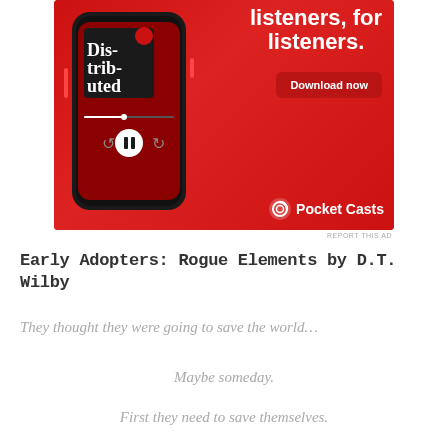[Figure (illustration): Pocket Casts app advertisement on red background showing a smartphone with the 'Distributed' podcast playing, text reading 'listeners, for listeners.' and a 'Download now' button, with the Pocket Casts logo at the bottom.]
REPORT THIS AD
Early Adopters: Rogue Elements by D.T. Wilby
They thought they were going to save the world…
Maybe someday.
First they need to save themselves.